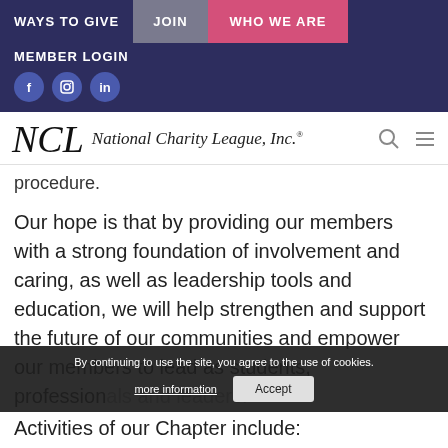WAYS TO GIVE | JOIN | WHO WE ARE | MEMBER LOGIN
[Figure (logo): National Charity League, Inc. logo with NCL monogram and cursive text]
procedure.
Our hope is that by providing our members with a strong foundation of involvement and caring, as well as leadership tools and education, we will help strengthen and support the future of our communities and empower our members to lead as students, professionals and leaders.
Activities of our Chapter include:
By continuing to use the site, you agree to the use of cookies. more information Accept